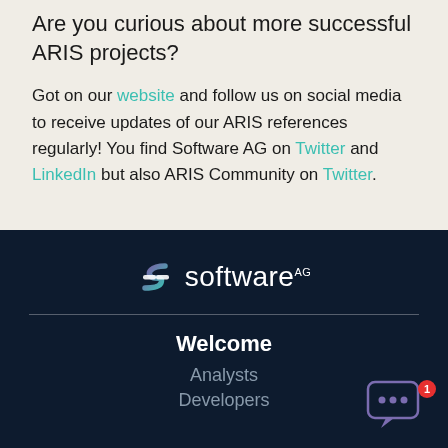Are you curious about more successful ARIS projects?
Got on our website and follow us on social media to receive updates of our ARIS references regularly! You find Software AG on Twitter and LinkedIn but also ARIS Community on Twitter.
[Figure (logo): Software AG logo with stylized S icon in purple/teal gradient and white text 'software AG']
Welcome
Analysts
Developers